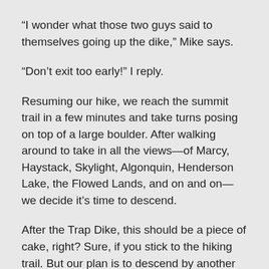“I wonder what those two guys said to themselves going up the dike,” Mike says.
“Don’t exit too early!” I reply.
Resuming our hike, we reach the summit trail in a few minutes and take turns posing on top of a large boulder. After walking around to take in all the views—of Marcy, Haystack, Skylight, Algonquin, Henderson Lake, the Flowed Lands, and on and on—we decide it’s time to descend.
After the Trap Dike, this should be a piece of cake, right? Sure, if you stick to the hiking trail. But our plan is to descend by another slide on the opposite side of the mountain. I climbed this slide years ago and